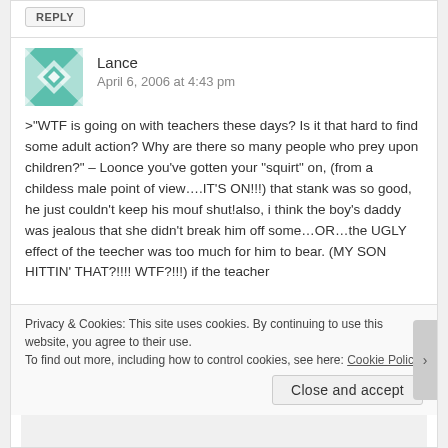REPLY
Lance
April 6, 2006 at 4:43 pm
>"WTF is going on with teachers these days? Is it that hard to find some adult action? Why are there so many people who prey upon children?" – Loonce you've gotten your "squirt" on, (from a childess male point of view….IT'S ON!!!) that stank was so good, he just couldn't keep his mouf shut!also, i think the boy's daddy was jealous that she didn't break him off some…OR…the UGLY effect of the teecher was too much for him to bear. (MY SON HITTIN' THAT?!!!! WTF?!!!) if the teacher
Privacy & Cookies: This site uses cookies. By continuing to use this website, you agree to their use.
To find out more, including how to control cookies, see here: Cookie Policy
Close and accept